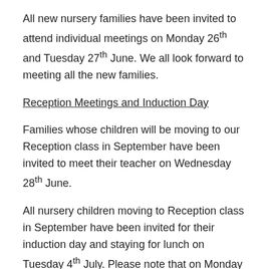All new nursery families have been invited to attend individual meetings on Monday 26th and Tuesday 27th June. We all look forward to meeting all the new families.
Reception Meetings and Induction Day
Families whose children will be moving to our Reception class in September have been invited to meet their teacher on Wednesday 28th June.
All nursery children moving to Reception class in September have been invited for their induction day and staying for lunch on Tuesday 4th July. Please note that on Monday and the rest of the week, children need to attend their usual Nursery